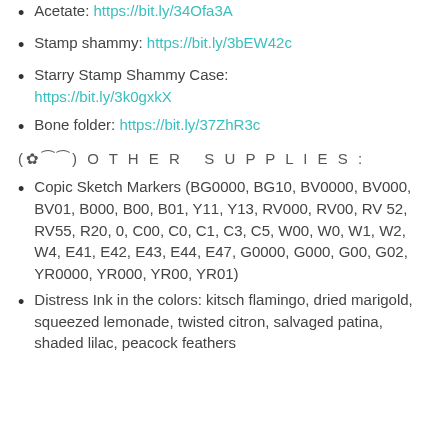Acetate: https://bit.ly/34Ofa3A
Stamp shammy: https://bit.ly/3bEW42c
Starry Stamp Shammy Case: https://bit.ly/3k0gxkX
Bone folder: https://bit.ly/37ZhR3c
(✿╰_╯) O T H E R   S U P P L I E S :
Copic Sketch Markers (BG0000, BG10, BV0000, BV000, BV01, B000, B00, B01, Y11, Y13, RV000, RV00, RV 52, RV55, R20, 0, C00, C0, C1, C3, C5, W00, W0, W1, W2, W4, E41, E42, E43, E44, E47, G0000, G000, G00, G02, YR0000, YR000, YR00, YR01)
Distress Ink in the colors: kitsch flamingo, dried marigold, squeezed lemonade, twisted citron, salvaged patina, shaded lilac, peacock feathers